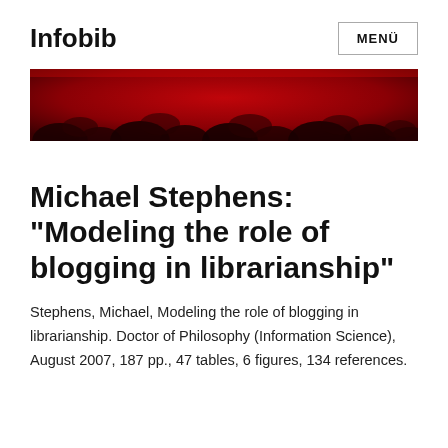Infobib
[Figure (photo): Dark red decorative banner image with abstract dark shapes against a deep red background]
Michael Stephens: "Modeling the role of blogging in librarianship"
Stephens, Michael, Modeling the role of blogging in librarianship. Doctor of Philosophy (Information Science), August 2007, 187 pp., 47 tables, 6 figures, 134 references.